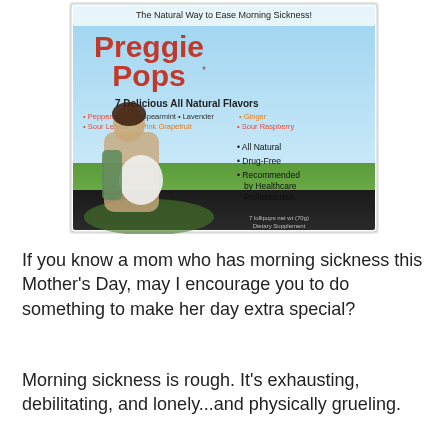[Figure (photo): Product photo of Preggie Pops box — a morning sickness remedy candy. Box shows a pregnant woman, blue sky background, text reading 'The Natural Way to Ease Morning Sickness!', 'Preggie Pops*', '7 Delicious All Natural Flavors', flavor names in colored text, and bullet points: All Natural, Drug-Free, Recommended by Healthcare Professionals. Bottom reads '7 lollipops net wt (70g) Dietary Supplement'.]
If you know a mom who has morning sickness this Mother's Day, may I encourage you to do something to make her day extra special?
Morning sickness is rough. It's exhausting, debilitating, and lonely...and physically grueling.